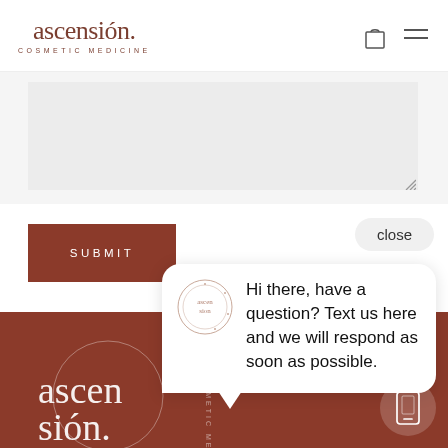ascensión. COSMETIC MEDICINE
[Figure (screenshot): Text area input field (gray background) with resize handle in bottom right corner]
[Figure (screenshot): SUBMIT button in dark brownish-red color with white letter-spaced text]
close
[Figure (screenshot): Chat popup bubble with Ascension logo avatar and message: Hi there, have a question? Text us here and we will respond as soon as possible.]
[Figure (logo): Ascensión Cosmetic Medicine logo in white on brown background with circular design element]
[Figure (screenshot): Phone/SMS icon in white circle on brown background]